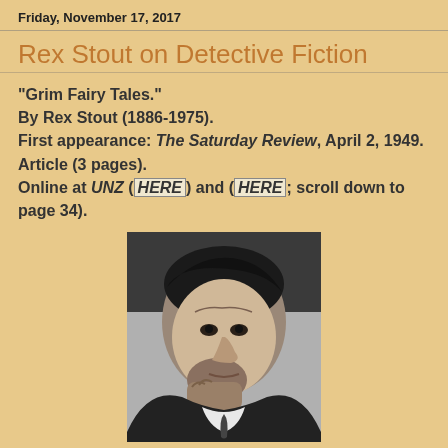Friday, November 17, 2017
Rex Stout on Detective Fiction
"Grim Fairy Tales."
By Rex Stout (1886-1975).
First appearance: The Saturday Review, April 2, 1949.
Article (3 pages).
Online at UNZ (HERE) and (HERE; scroll down to page 34).
[Figure (photo): Black and white portrait photograph of a man, shown from the shoulders up, looking slightly downward with his hand raised near his chin.]